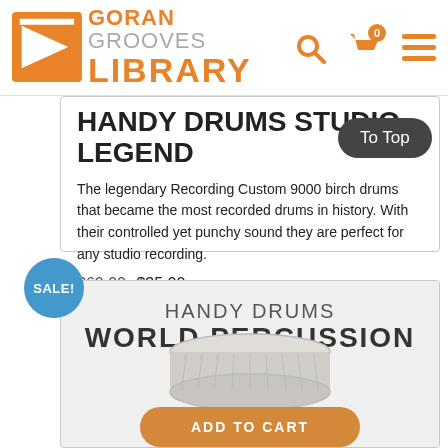Goran Grooves Library
Handy Drums Studio Legend
The legendary Recording Custom 9000 birch drums that became the most recorded drums in history. With their controlled yet punchy sound they are perfect for any studio recording.
$60.00 $35.00
Handy Drums World Percussion
[Figure (photo): World percussion drum instrument photo]
ADD TO CART